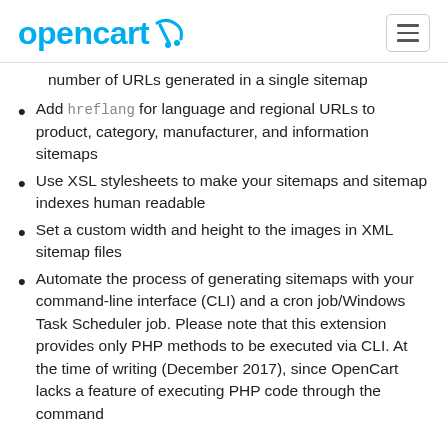opencart
number of URLs generated in a single sitemap
Add hreflang for language and regional URLs to product, category, manufacturer, and information sitemaps
Use XSL stylesheets to make your sitemaps and sitemap indexes human readable
Set a custom width and height to the images in XML sitemap files
Automate the process of generating sitemaps with your command-line interface (CLI) and a cron job/Windows Task Scheduler job. Please note that this extension provides only PHP methods to be executed via CLI. At the time of writing (December 2017), since OpenCart lacks a feature of executing PHP code through the command